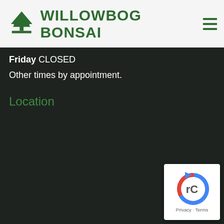WILLOWBOG BONSAI
Friday CLOSED
Other times by appointment.
Location
[Figure (logo): reCAPTCHA badge with Privacy and Terms links]